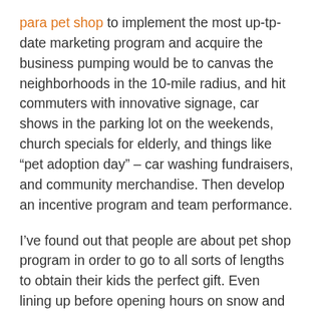para pet shop to implement the most up-tp-date marketing program and acquire the business pumping would be to canvas the neighborhoods in the 10-mile radius, and hit commuters with innovative signage, car shows in the parking lot on the weekends, church specials for elderly, and things like “pet adoption day” – car washing fundraisers, and community merchandise. Then develop an incentive program and team performance.
I’ve found out that people are about pet shop program in order to go to all sorts of lengths to obtain their kids the perfect gift. Even lining up before opening hours on snow and making a mad dash for their specific remedy. Even going to the extreme and having physical tug of wars to claim their treasure. I think that is ridiculous. Especially